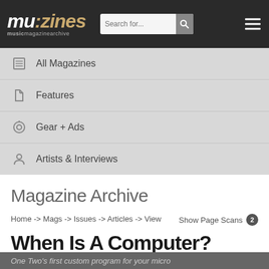mu:zines musicmagazinearchive — Search bar — Hamburger menu
All Magazines
Features
Gear + Ads
Artists & Interviews
Magazine Archive
Home -> Mags -> Issues -> Articles -> View   Show Page Scans 2
When Is A Computer?
One Two's first custom program for your micro